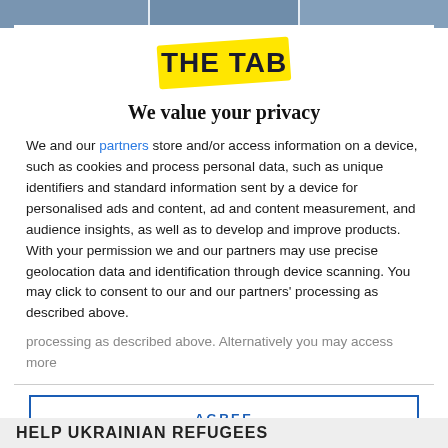[Figure (screenshot): Top banner showing The Tab website header with images of people]
[Figure (logo): The Tab logo - yellow banner with THE TAB in dark bold text]
We value your privacy
We and our partners store and/or access information on a device, such as cookies and process personal data, such as unique identifiers and standard information sent by a device for personalised ads and content, ad and content measurement, and audience insights, as well as to develop and improve products. With your permission we and our partners may use precise geolocation data and identification through device scanning. You may click to consent to our and our partners' processing as described above. Alternatively you may access more
AGREE
MORE OPTIONS
HELP UKRAINIAN REFUGEES